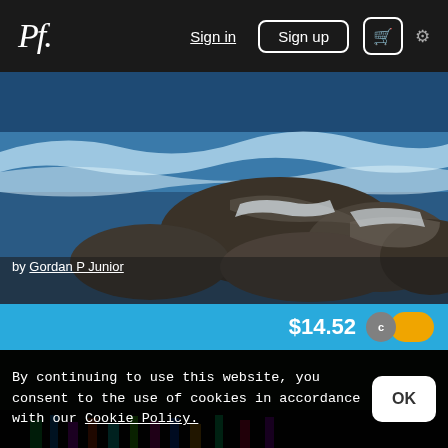Pf. Sign in  Sign up  🛒  ⚙
[Figure (photo): Rocky ocean coastline with waves crashing on rocks, blue-grey water with white foam, by Gordan P Junior]
by Gordan P Junior
$14.52
[Figure (photo): Dark background with colorful neon lights at the bottom]
By continuing to use this website, you consent to the use of cookies in accordance with our Cookie Policy.
OK